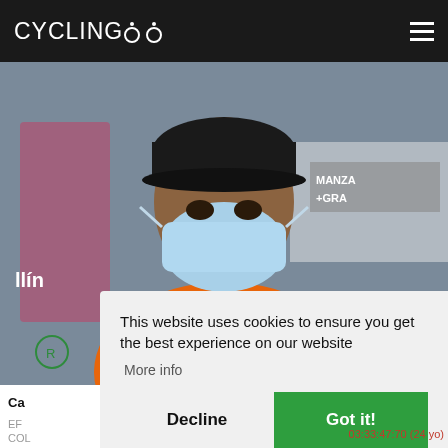CYCLINGOO
[Figure (photo): Cyclist wearing orange 'CAMPEON' jersey and blue medical face mask at a podium event, with 'MANZA +GRAN' and 'llin' (Medellín) banners in background]
Ca
EF
COL
This website uses cookies to ensure you get the best experience on our website
More info
Decline
Got it!
03:33:47:70 (24 yo)